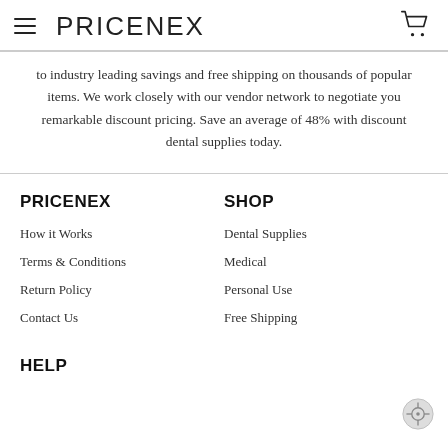PRICENEX
to industry leading savings and free shipping on thousands of popular items. We work closely with our vendor network to negotiate you remarkable discount pricing. Save an average of 48% with discount dental supplies today.
PRICENEX
How it Works
Terms & Conditions
Return Policy
Contact Us
SHOP
Dental Supplies
Medical
Personal Use
Free Shipping
HELP